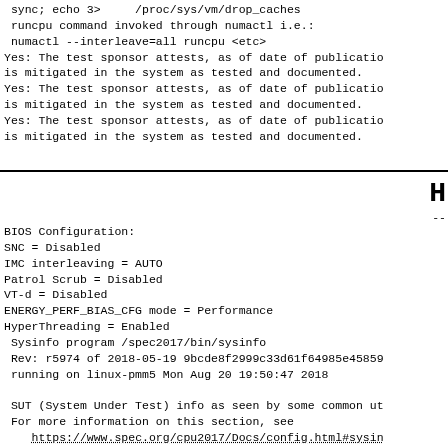sync; echo 3>     /proc/sys/vm/drop_caches
 runcpu command invoked through numactl i.e.:
 numactl --interleave=all runcpu <etc>
Yes: The test sponsor attests, as of date of publication
is mitigated in the system as tested and documented.
Yes: The test sponsor attests, as of date of publication
is mitigated in the system as tested and documented.
Yes: The test sponsor attests, as of date of publication
is mitigated in the system as tested and documented.
H --
BIOS Configuration:
SNC = Disabled
IMC interleaving = AUTO
Patrol Scrub = Disabled
VT-d = Disabled
ENERGY_PERF_BIAS_CFG mode = Performance
HyperThreading = Enabled
 Sysinfo program /spec2017/bin/sysinfo
 Rev: r5974 of 2018-05-19 9bcde8f2999c33d61f64985e45859e
 running on linux-pmm5 Mon Aug 20 19:50:47 2018

 SUT (System Under Test) info as seen by some common ut
 For more information on this section, see
    https://www.spec.org/cpu2017/Docs/config.html#sysin

 From /proc/cpuinfo
    model name : Intel(R) Xeon(R) Gold 5115 CPU @ 2.40G